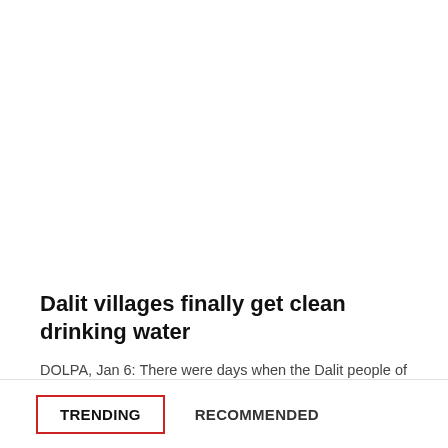Dalit villages finally get clean drinking water
DOLPA, Jan 6: There were days when the Dalit people of Dolpa had to walk for three long hours to fetch...
Read More...
TRENDING
RECOMMENDED